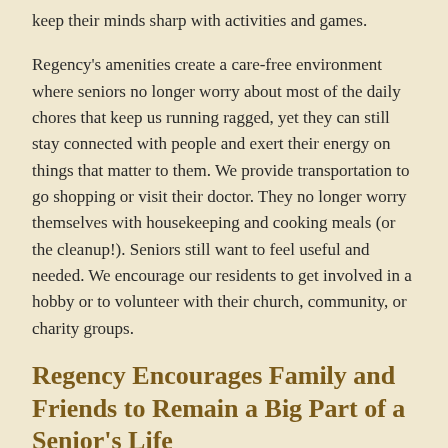keep their minds sharp with activities and games.
Regency's amenities create a care-free environment where seniors no longer worry about most of the daily chores that keep us running ragged, yet they can still stay connected with people and exert their energy on things that matter to them. We provide transportation to go shopping or visit their doctor. They no longer worry themselves with housekeeping and cooking meals (or the cleanup!). Seniors still want to feel useful and needed. We encourage our residents to get involved in a hobby or to volunteer with their church, community, or charity groups.
Regency Encourages Family and Friends to Remain a Big Part of a Senior's Life
We surround our residents with people their age, as well as compassionate caregivers who they can connect with on a personal level and consider friends. However, a person's family will always matter most to a senior. Unlike the isolated grandmother whose